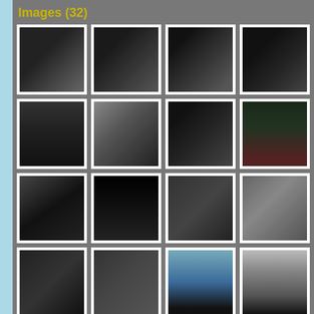Images (32)
[Figure (photo): Grid of 20 thumbnail photos of a black sports car (appears to be a Lamborghini or similar exotic car). Row 1: exterior front/side views (4 photos). Row 2: rear spoiler, side profile, wheel close-up, interior dashboard (4 photos). Row 3: interior seats with red accents, instrument cluster, carbon fiber detail, dashboard panel (4 photos). Row 4: carbon fiber badge/nameplate, interior seats, outdoor side view, car show crowd (4 photos). Row 5 (partial): side view, garage/workshop view, two sky-background exterior shots (4 partial photos visible at bottom).]